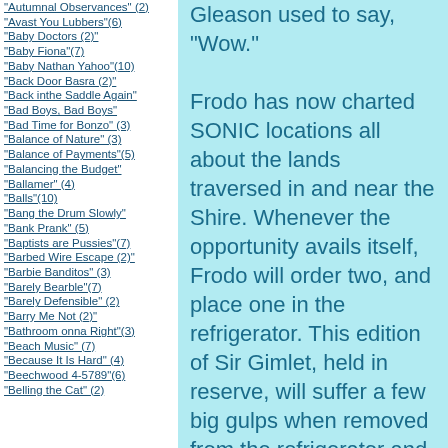"Autumnal Observances" (2)
"Avast You Lubbers"(6)
"Baby Doctors (2)"
"Baby Fiona"(7)
"Baby Nathan Yahoo"(10)
"Back Door Basra (2)"
"Back inthe Saddle Again"
"Bad Boys, Bad Boys"
"Bad Time for Bonzo" (3)
"Balance of Nature" (3)
"Balance of Payments"(5)
"Balancing the Budget"
"Ballamer" (4)
"Balls"(10)
"Bang the Drum Slowly"
"Bank Prank" (5)
"Baptists are Pussies"(7)
"Barbed Wire Escape (2)"
"Barbie Banditos" (3)
"Barely Bearble"(7)
"Barely Defensible" (2)
"Barry Me Not (2)"
"Bathroom onna Right"(3)
"Beach Music" (7)
"Because It Is Hard" (4)
"Beechwood 4-5789"(6)
"Belling the Cat" (2)
Gleason used to say, "Wow."

Frodo has now charted SONIC locations all about the lands traversed in and near the Shire. Whenever the opportunity avails itself, Frodo will order two, and place one in the refrigerator. This edition of Sir Gimlet, held in reserve, will suffer a few big gulps when removed from the refrigerator and placed in the freezer for 10 or so minutes. Then, lovingly removed from the deep freeze, Sir Gimlet is fortified with the requisite support, and maintains Frodo's allegiance throughout the evening.